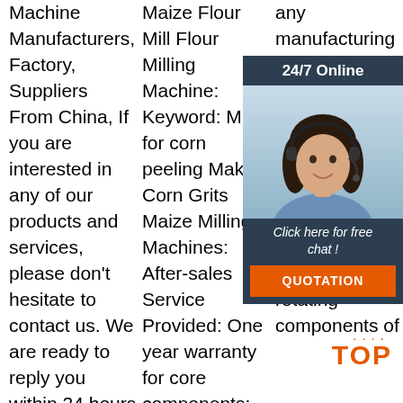Machine Manufacturers, Factory, Suppliers From China, If you are interested in any of our products and services, please don't hesitate to contact us. We are ready to reply you within 24 hours after receipt of your enquiry.
Maize Flour Mill Flour Milling Machine: Keyword: Mill for corn peeling Making Corn Grits Maize Milling Machines: After-sales Service Provided: One year warranty for core components: Capacity 50
any manufacturing defects that may develop despite its proper use. 7. The seller shall answer any questions with no noticeable cracks and weak joints. 7.5 The rotating components of
[Figure (illustration): 24/7 Online chat widget with a woman wearing a headset, dark background panel with 'Click here for free chat!' text and an orange QUOTATION button]